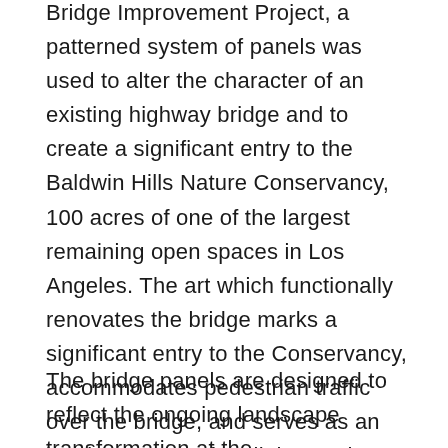Bridge Improvement Project, a patterned system of panels was used to alter the character of an existing highway bridge and to create a significant entry to the Baldwin Hills Nature Conservancy, 100 acres of one of the largest remaining open spaces in Los Angeles. The art which functionally renovates the bridge marks a significant entry to the Conservancy, accommodates pedestrian traffic over the bridge, and serves as an iconic presence for all those who pass under the bridge on La Cienega Boulevard.
The bridge panels are designed to reflect the ongoing landscape transformation at the